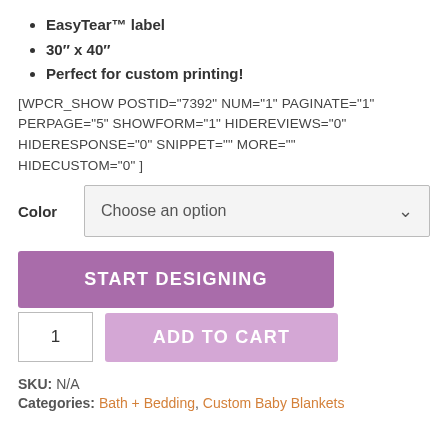EasyTear™ label
30″ x 40″
Perfect for custom printing!
[WPCR_SHOW POSTID="7392" NUM="1" PAGINATE="1" PERPAGE="5" SHOWFORM="1" HIDEREVIEWS="0" HIDERESPONSE="0" SNIPPET="" MORE="" HIDECUSTOM="0" ]
Color   Choose an option
[Figure (screenshot): START DESIGNING button (purple) and ADD TO CART button (light purple) with quantity box showing 1]
SKU: N/A
Categories: Bath + Bedding, Custom Baby Blankets